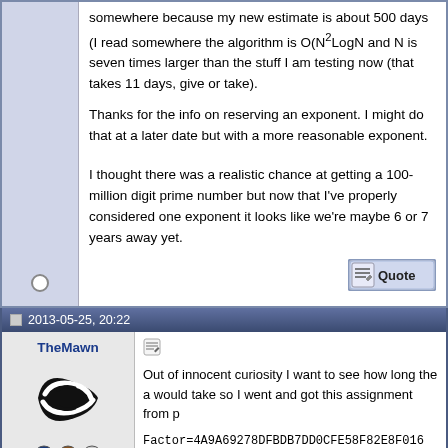somewhere because my new estimate is about 500 days (I read somewhere the algorithm is O(N²LogN and N is seven times larger than the stuff I am testing now (that takes 11 days, give or take).
Thanks for the info on reserving an exponent. I might do that at a later date but with a more reasonable exponent.
I thought there was a realistic chance at getting a 100-million digit prime number but now that I've properly considered one exponent it looks like we're maybe 6 or 7 years away yet.
2013-05-25, 20:22
TheMawn
Out of innocent curiosity I want to see how long the a would take so I went and got this assignment from p
Factor=4A9A69278DFBDB7DD0CFE58F82E8F016
The assignments I get from GPU72 are all look like: